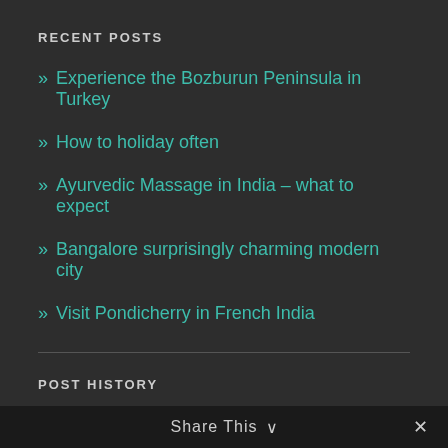RECENT POSTS
Experience the Bozburun Peninsula in Turkey
How to holiday often
Ayurvedic Massage in India – what to expect
Bangalore surprisingly charming modern city
Visit Pondicherry in French India
POST HISTORY
October 2016
| M | T | W | T | F | S | S |
| --- | --- | --- | --- | --- | --- | --- |
|  |  |  |  |  | 1 | 2 |